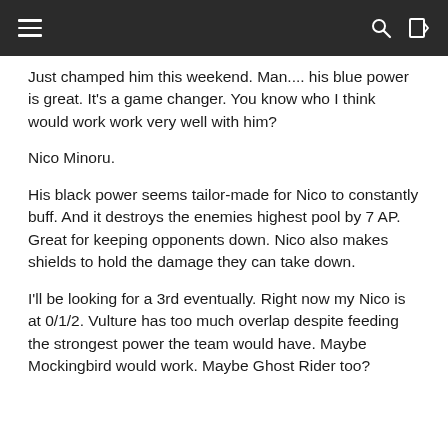Just champed him this weekend. Man.... his blue power is great. It's a game changer. You know who I think would work work very well with him?
Nico Minoru.
His black power seems tailor-made for Nico to constantly buff. And it destroys the enemies highest pool by 7 AP. Great for keeping opponents down. Nico also makes shields to hold the damage they can take down.
I'll be looking for a 3rd eventually. Right now my Nico is at 0/1/2. Vulture has too much overlap despite feeding the strongest power the team would have. Maybe Mockingbird would work. Maybe Ghost Rider too?